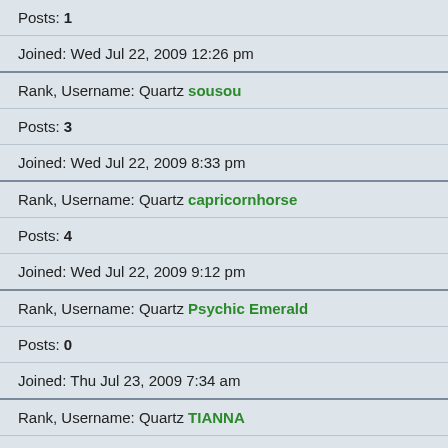Posts: 1
Joined: Wed Jul 22, 2009 12:26 pm
Rank, Username: Quartz sousou
Posts: 3
Joined: Wed Jul 22, 2009 8:33 pm
Rank, Username: Quartz capricornhorse
Posts: 4
Joined: Wed Jul 22, 2009 9:12 pm
Rank, Username: Quartz Psychic Emerald
Posts: 0
Joined: Thu Jul 23, 2009 7:34 am
Rank, Username: Quartz TIANNA
Posts: 3
Joined: Wed Jul 29, 2009 10:11 pm
Rank, Username: Quartz tvnk
Posts: 0
Joined: Tue Aug 04, 2009 10:30 pm
Rank, Username: Quartz evolving
Posts: 2